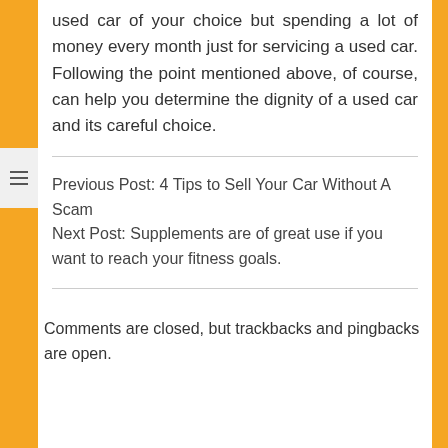used car of your choice but spending a lot of money every month just for servicing a used car. Following the point mentioned above, of course, can help you determine the dignity of a used car and its careful choice.
Previous Post: 4 Tips to Sell Your Car Without A Scam
Next Post: Supplements are of great use if you want to reach your fitness goals.
Comments are closed, but trackbacks and pingbacks are open.